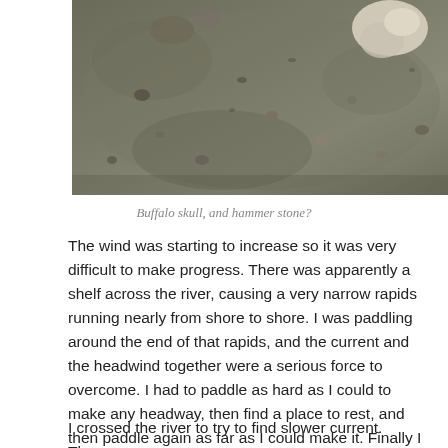[Figure (photo): Close-up photograph of sandy/muddy ground with small rocks and pebbles scattered about, possibly showing a buffalo skull and hammer stone.]
Buffalo skull, and hammer stone?
The wind was starting to increase so it was very difficult to make progress. There was apparently a shelf across the river, causing a very narrow rapids running nearly from shore to shore. I was paddling around the end of that rapids, and the current and the headwind together were a serious force to overcome. I had to paddle as hard as I could to make any headway, then find a place to rest, and then paddle again as far as I could make it. Finally I made it to a point where the current lessened.
I crossed the river to try to find slower current. There